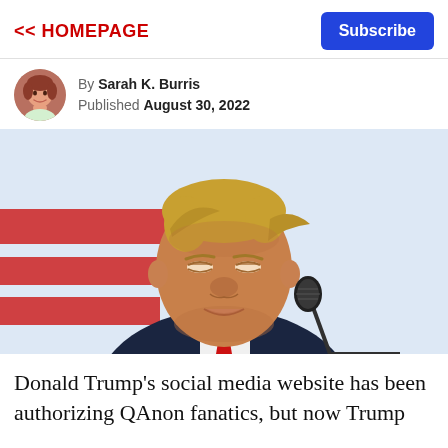<< HOMEPAGE
Subscribe
By Sarah K. Burris
Published August 30, 2022
[Figure (photo): Close-up photo of Donald Trump speaking at a microphone at a rally, with a red and white striped background.]
Donald Trump's social media website has been authorizing QAnon fanatics, but now Trump